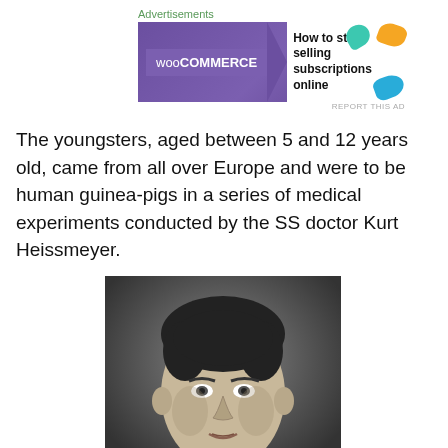[Figure (other): WooCommerce advertisement banner: 'How to start selling subscriptions online']
The youngsters, aged between 5 and 12 years old, came from all over Europe and were to be human guinea-pigs in a series of medical experiments conducted by the SS doctor Kurt Heissmeyer.
[Figure (photo): Black and white portrait photograph of a man (Kurt Heissmeyer), dark hair, looking slightly to the side.]